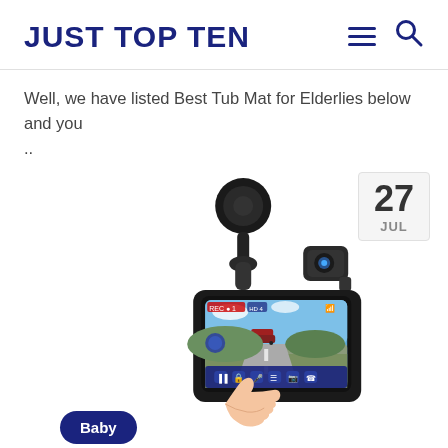JUST TOP TEN
Well, we have listed Best Tub Mat for Elderlies below and you ..
[Figure (photo): Dash cam device with suction cup mount, touchscreen display showing a road scene with a vehicle, and a separate rear camera unit. A hand is shown touching the screen.]
27 JUL
Baby